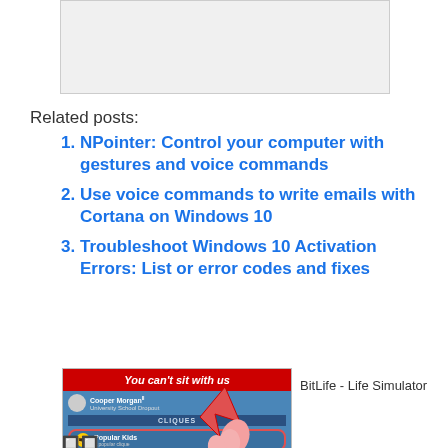[Figure (screenshot): A gray placeholder image box at the top of the page]
Related posts:
NPointer: Control your computer with gestures and voice commands
Use voice commands to write emails with Cortana on Windows 10
Troubleshoot Windows 10 Activation Errors: List or error codes and fixes
[Figure (screenshot): BitLife - Life Simulator app advertisement banner showing social cliques screen with 'You can't sit with us' red bar]
BitLife - Life Simulator
🔲🔲